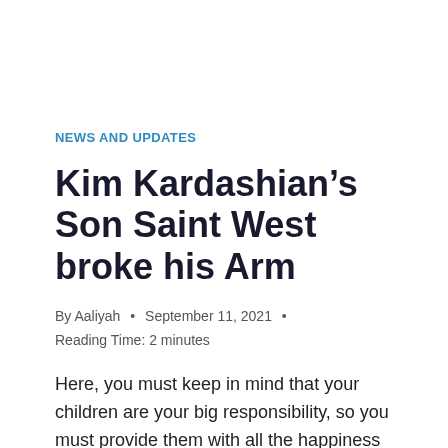NEWS AND UPDATES
Kim Kardashian’s Son Saint West broke his Arm
By Aaliyah • September 11, 2021 • Reading Time: 2 minutes
Here, you must keep in mind that your children are your big responsibility, so you must provide them with all the happiness they need. So, make a little effort now because National